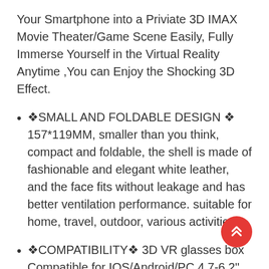Your Smartphone into a Priviate 3D IMAX Movie Theater/Game Scene Easily, Fully Immerse Yourself in the Virtual Reality Anytime ,You can Enjoy the Shocking 3D Effect.
🔶SMALL AND FOLDABLE DESIGN 🔶 157*119MM, smaller than you think, compact and foldable, the shell is made of fashionable and elegant white leather, and the face fits without leakage and has better ventilation performance. suitable for home, travel, outdoor, various activities.
🔶COMPATIBILITY🔶 3D VR glasses box Compatible for IOS/Android/PC 4.7-6.2" smartphone, for iPhone 12 /12 mini/11 Pro/11 Pro/11/XS/XR/X/10/8/8+/7/7+/6S+/6+/6S/6,